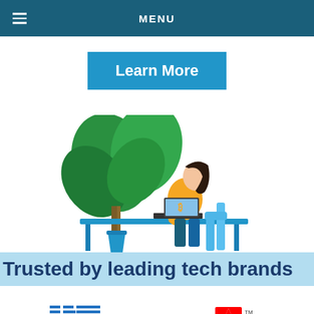MENU
Learn More
[Figure (illustration): Illustration of a woman in an orange top sitting at a blue desk working on a laptop, with a large green plant beside her.]
Trusted by leading tech brands
[Figure (logo): IBM logo]
[Figure (logo): Samsung logo]
[Figure (logo): Adobe logo]